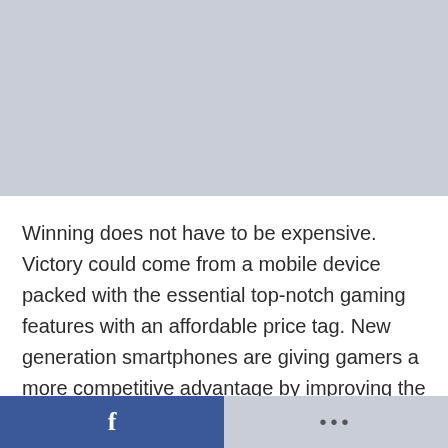[Figure (photo): Placeholder image area with light blue-grey background, no visible content]
Winning does not have to be expensive. Victory could come from a mobile device packed with the essential top-notch gaming features with an affordable price tag. New generation smartphones are giving gamers a more competitive advantage by improving the features they actually need.
[Figure (other): Footer bar with two sections: left half is Facebook blue with 'f' icon, right half is grey with three dots menu indicator]